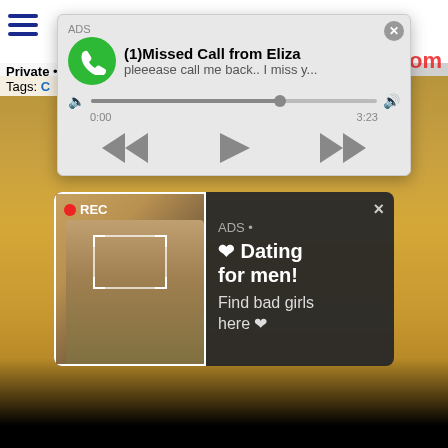[Figure (screenshot): Browser page background showing a video page with tags. Text visible: 'Private', 'Tags: C' and partial red '.com' watermark in top right.]
[Figure (screenshot): Audio advertisement popup showing '(1)Missed Call from Eliza' with green phone icon, subtitle 'pleeease call me back.. I miss y...', progress bar showing 0:00 to 3:23, and media controls (rewind, play, fast-forward). Labeled ADS.]
[Figure (screenshot): Dark popup advertisement labeled 'ADS • Dating for men! Find bad girls here' with a selfie photo on the left showing a woman with a red REC badge and viewfinder overlay. Close X button in top right.]